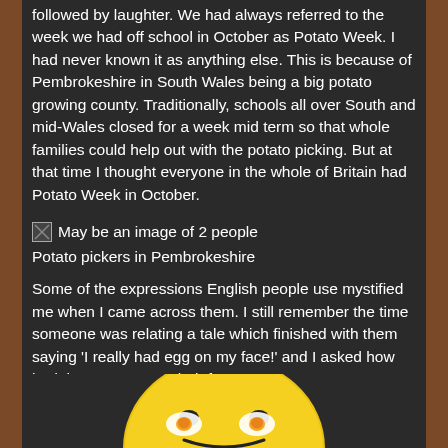followed by laughter. We had always referred to the week we had off school in October as Potato Week. I had never known it as anything else. This is because of Pembrokeshire in South Wales being a big potato growing county. Traditionally, schools all over South and mid-Wales closed for a week mid term so that whole families could help out with the potato picking. But at that time I thought everyone in the whole of Britain had Potato Week in October.
[Figure (photo): Broken image placeholder labeled 'May be an image of 2 people']
Potato pickers in Pembrokeshire
Some of the expressions English people use mystified me when I came across them. I still remember the time someone was relating a tale which finished with them saying 'I really had egg on my face!' and I asked how had they got egg on their face.
[Figure (illustration): Yellow smiley face / emoji with fried eggs on it, partially visible at the bottom of the page]